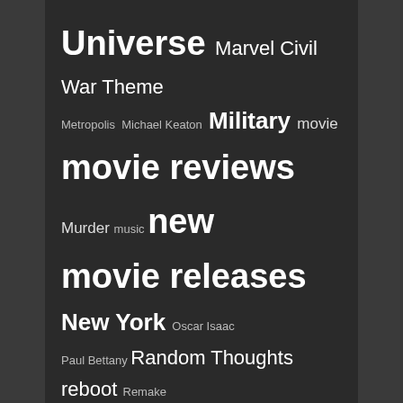[Figure (infographic): Word cloud / tag cloud with movie-related terms in varying font sizes on a dark background. Terms include: Universe, Marvel, Civil War, Theme, Metropolis, Michael Keaton, Military, movie, movie reviews, Murder, music, new movie releases, New York, Oscar Isaac, Paul Bettany, Random Thoughts, reboot, Remake, review, Robert Downey Jnr, Samuel L Jackson, Scarlett Johansson, Sci Fi, sequel, Space, Superhero, Superman, thriller, Trailer, True Story, Writer Director, X-Men, Apocalypse Theme Month, X Men]
INSTAGRAM